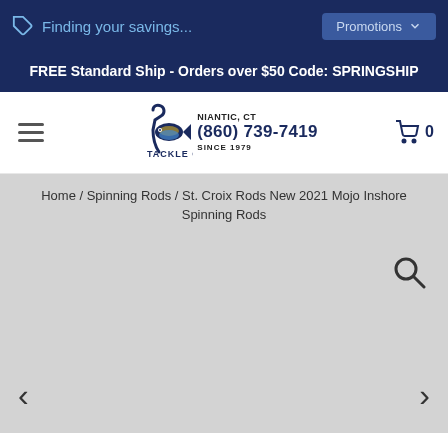Finding your savings...
FREE Standard Ship - Orders over $50 Code: SPRINGSHIP
[Figure (logo): JL Tackle Co. logo with fish graphic]
NIANTIC, CT (860) 739-7419 SINCE 1979
Home / Spinning Rods / St. Croix Rods New 2021 Mojo Inshore Spinning Rods
[Figure (photo): Product image area - gray placeholder with search magnifier icon and left/right navigation arrows]